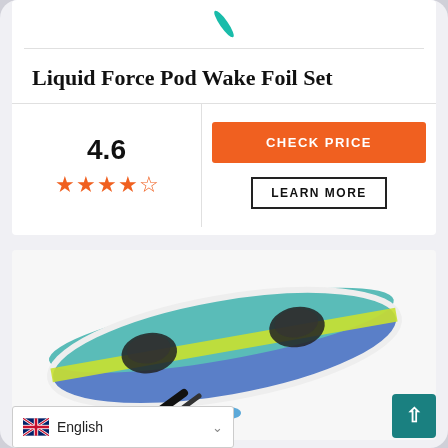[Figure (photo): Teal/turquoise foil tip visible at top of product card]
Liquid Force Pod Wake Foil Set
4.6 rating with 4.5 stars
CHECK PRICE
LEARN MORE
[Figure (photo): Wakeboard with teal, blue, and yellow-green design with bindings, shown at an angle]
English